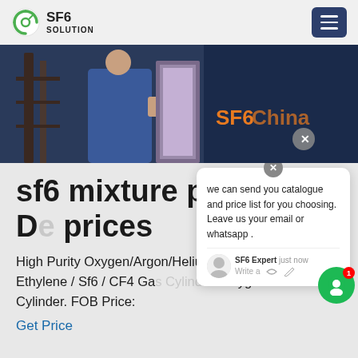SF6 SOLUTION
[Figure (photo): Hero image of industrial electrical equipment and worker in blue jacket; SF6China text overlay in orange]
sf6 mixture pipe De prices
High Purity Oxygen/Argon/Helium /Acetylene / Ethylene / Sf6 / CF4 Gas Cylinder /Oxygen Cylinder. FOB Price:
Get Price
we can send you catalogue and price list for you choosing. Leave us your email or whatsapp .
SF6 Expert   just now
Write a